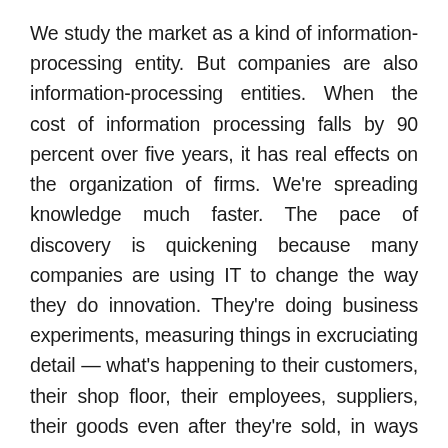We study the market as a kind of information-processing entity. But companies are also information-processing entities. When the cost of information processing falls by 90 percent over five years, it has real effects on the organization of firms. We're spreading knowledge much faster. The pace of discovery is quickening because many companies are using IT to change the way they do innovation. They're doing business experiments, measuring things in excruciating detail — what's happening to their customers, their shop floor, their employees, suppliers, their goods even after they're sold, in ways they never did before. And since our living standards ultimately depend on what technology can do to speed innovation, it's going to have a much bigger impact on us than any single innovation by itself.